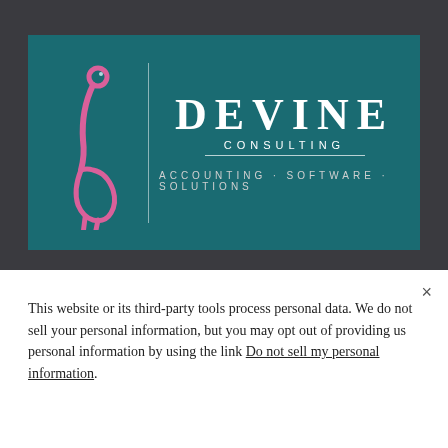[Figure (logo): Devine Consulting logo on teal/dark cyan background. Left side shows a pink flamingo illustration. A vertical divider line separates it from the right side text area. Text reads: DEVINE / CONSULTING / ACCOUNTING · SOFTWARE · SOLUTIONS]
CUSTOMER LOGIN
This website or its third-party tools process personal data. We do not sell your personal information, but you may opt out of providing us personal information by using the link Do not sell my personal information.